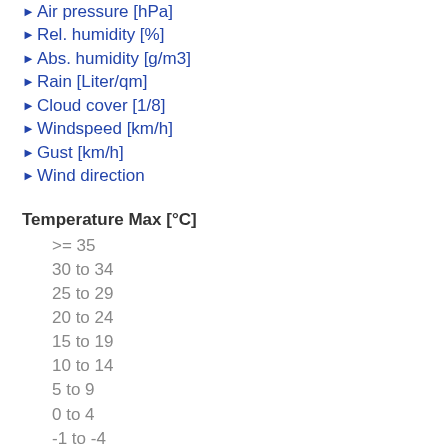►Air pressure [hPa]
►Rel. humidity [%]
►Abs. humidity [g/m3]
►Rain [Liter/qm]
►Cloud cover [1/8]
►Windspeed [km/h]
►Gust [km/h]
►Wind direction
Temperature Max [°C]
>= 35
30 to 34
25 to 29
20 to 24
15 to 19
10 to 14
5 to 9
0 to 4
-1 to -4
-5 to -9
-10 to -14